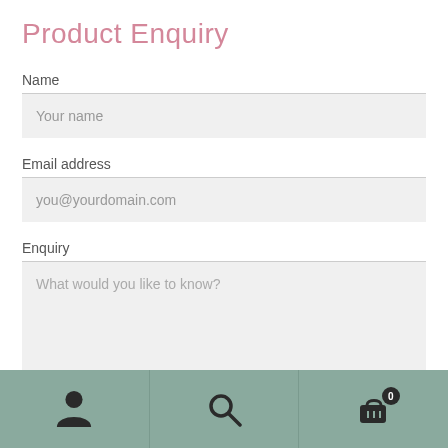Product Enquiry
Name
Your name
Email address
you@yourdomain.com
Enquiry
What would you like to know?
[person icon] [search icon] [cart icon with badge 0]